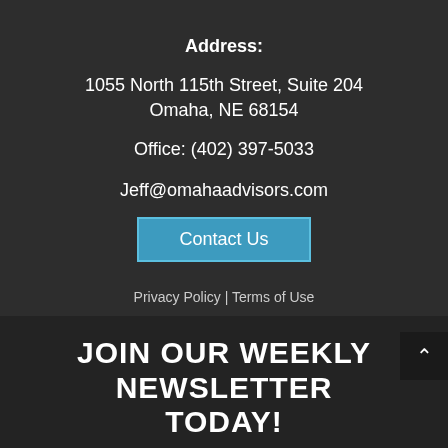Address:
1055 North 115th Street, Suite 204
Omaha, NE 68154
Office: (402) 397-5033
Jeff@omahaadvisors.com
Contact Us
Privacy Policy | Terms of Use
JOIN OUR WEEKLY NEWSLETTER TODAY!
Name